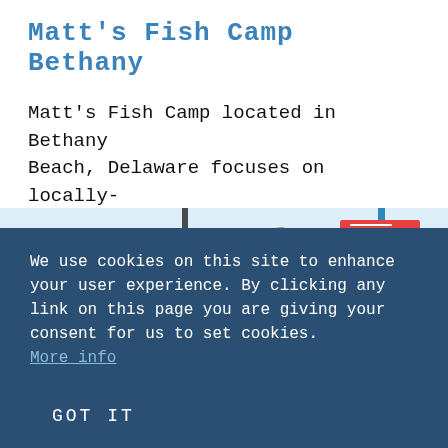Matt's Fish Camp Bethany
Matt's Fish Camp located in Bethany Beach, Delaware focuses on locally-grown produce and farm-fresh ...
Read More →
[Figure (photo): Beach scene with palm trees, ocean in background, and a colorful directional sign post on the right side.]
We use cookies on this site to enhance your user experience. By clicking any link on this page you are giving your consent for us to set cookies. More info
GOT IT